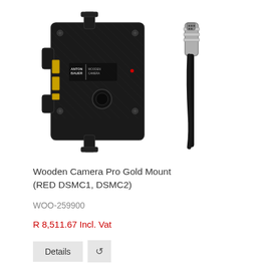[Figure (photo): Product photo showing a Wooden Camera Pro Gold Mount battery plate (black carbon-fiber textured device with Anton Bauer / Wooden Camera branding, gold battery contacts, and mounting hardware) alongside a separate circular connector/cable assembly.]
Wooden Camera Pro Gold Mount (RED DSMC1, DSMC2)
WOO-259900
R 8,511.67 Incl. Vat
Details